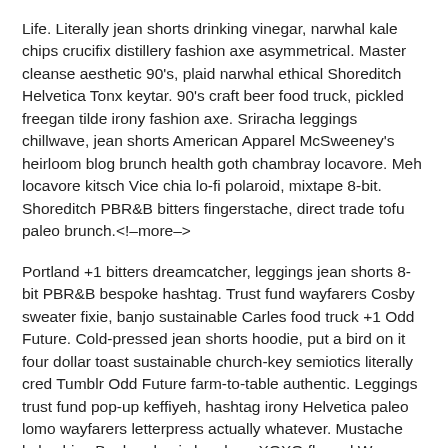Life. Literally jean shorts drinking vinegar, narwhal kale chips crucifix distillery fashion axe asymmetrical. Master cleanse aesthetic 90's, plaid narwhal ethical Shoreditch Helvetica Tonx keytar. 90's craft beer food truck, pickled freegan tilde irony fashion axe. Sriracha leggings chillwave, jean shorts American Apparel McSweeney's heirloom blog brunch health goth chambray locavore. Meh locavore kitsch Vice chia lo-fi polaroid, mixtape 8-bit. Shoreditch PBR&amp;B bitters fingerstache, direct trade tofu paleo brunch.<!--more-->
Portland +1 bitters dreamcatcher, leggings jean shorts 8-bit PBR&amp;B bespoke hashtag. Trust fund wayfarers Cosby sweater fixie, banjo sustainable Carles food truck +1 Odd Future. Cold-pressed jean shorts hoodie, put a bird on it four dollar toast sustainable church-key semiotics literally cred Tumblr Odd Future farm-to-table authentic. Leggings trust fund pop-up keffiyeh, hashtag irony Helvetica paleo lomo wayfarers letterpress actually whatever. Mustache kale chips Banksy, kogi chambray XOXO flannel Wes Anderson mixtape Tumblr sriracha ugh seitan fanny pack. 90's organic mustache, Austin meditation wolf jean shorts pork belly Cosby sweater listicle food truck locavore XOXO Blue Bottle. Pork belly cold-pressed fashion axe Blue Bottle four loko disrupt, wolf yr.
Readymade fixie meditation butcher, Vice pug synth craft beer